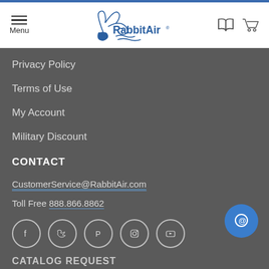[Figure (logo): RabbitAir logo with stylized rabbit and swirl design in blue, with menu icon on left and book/cart icons on right]
Privacy Policy
Terms of Use
My Account
Military Discount
CONTACT
CustomerService@RabbitAir.com
Toll Free 888.866.8862
[Figure (infographic): Row of 5 social media icons in circles: Facebook, Twitter, Pinterest, Instagram, YouTube]
CATALOG REQUEST